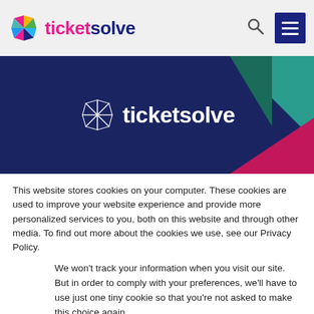[Figure (logo): Ticketsolve logo in navbar with colorful pinwheel icon]
[Figure (logo): Ticketsolve hero banner with white outline logo on dark navy background with teal and pink triangles]
This website stores cookies on your computer. These cookies are used to improve your website experience and provide more personalized services to you, both on this website and through other media. To find out more about the cookies we use, see our Privacy Policy.
We won't track your information when you visit our site. But in order to comply with your preferences, we'll have to use just one tiny cookie so that you're not asked to make this choice again.
Accept
Decline